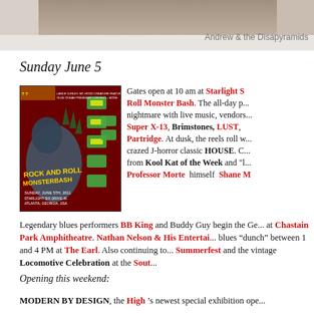[Figure (photo): Top photo strip showing partial image, cropped at top]
Andrew & the Disapyramids
Sunday June 5
[Figure (photo): Rock and Roll Monster Bash poster featuring a monster/Godzilla-like creature with yellow text, Sunday June 5th, Starlight Six Drive-In, Atlanta Georgia]
Gates open at 10 am at Starlight S... Roll Monster Bash. The all-day p... nightmare with live music, vendors... Super X-13, Brimstones, LUST, ... Partridge. At dusk, the reels roll w... crazed J-horror classic HOUSE. C... from Kool Kat of the Week and "... Professor Morte himself Shane M...
Legendary blues performers BB King and Buddy Guy begin the Ge... at Chastain Park Amphitheatre. Nathan Nelson & His Entertai... blues "dunch" between 1 and 4 PM at The Earl. Also continuing to... Summerfest and the vintage Locomotive Celebration at the Sout...
Opening this weekend:
MODERN BY DESIGN, the High 's newest special exhibition ope... b... ... Museum of Mo...